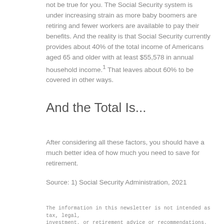not be true for you. The Social Security system is under increasing strain as more baby boomers are retiring and fewer workers are available to pay their benefits. And the reality is that Social Security currently provides about 40% of the total income of Americans aged 65 and older with at least $55,578 in annual household income.¹ That leaves about 60% to be covered in other ways.
And the Total Is...
After considering all these factors, you should have a much better idea of how much you need to save for retirement.
Source: 1) Social Security Administration, 2021
The information in this newsletter is not intended as tax, legal, investment, or retirement advice or recommendations, and it may not be relied on for the purpose of avoiding any federal tax